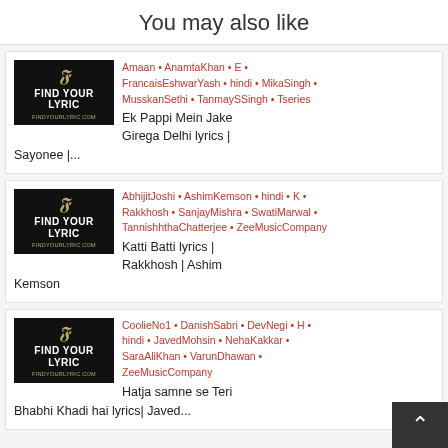You may also like
[Figure (illustration): Find Your Lyric thumbnail image - black background with golden emblem and white text]
Amaan • AnamtaKhan • E • FrancaisEshwarYash • hindi • MikaSingh • MusskanSethi • TanmaySSingh • Tseries
Ek Pappi Mein Jake Girega Delhi lyrics | Sayonee |...
[Figure (illustration): Find Your Lyric thumbnail image - black background with golden emblem and white text]
AbhijitJoshi • AshimKemson • hindi • K • Rakkhosh • SanjayMishra • SwatiMarwal • TannishhthaChatterjee • ZeeMusicCompany
Katti Batti lyrics | Rakkhosh | Ashim Kemson
[Figure (illustration): Find Your Lyric thumbnail image - black background with golden emblem and white text]
CoolieNo1 • DanishSabri • DevNegi • H • hindi • JavedMohsin • NehaKakkar • SaraAliKhan • VarunDhawan • ZeeMusicCompany
Hatja samne se Teri Bhabhi Khadi hai lyrics| Javed...